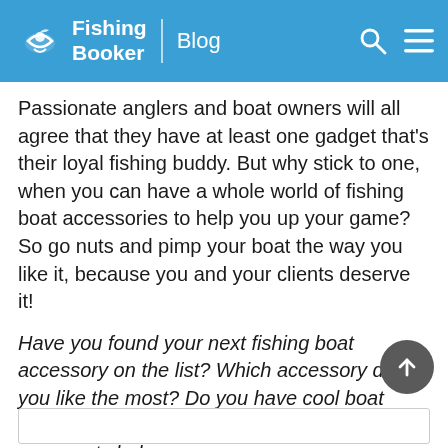Fishing Booker | Blog
Passionate anglers and boat owners will all agree that they have at least one gadget that's their loyal fishing buddy. But why stick to one, when you can have a whole world of fishing boat accessories to help you up your game? So go nuts and pimp your boat the way you like it, because you and your clients deserve it!
Have you found your next fishing boat accessory on the list? Which accessory did you like the most? Do you have cool boat bling to recommend? Let us know in the comments below.